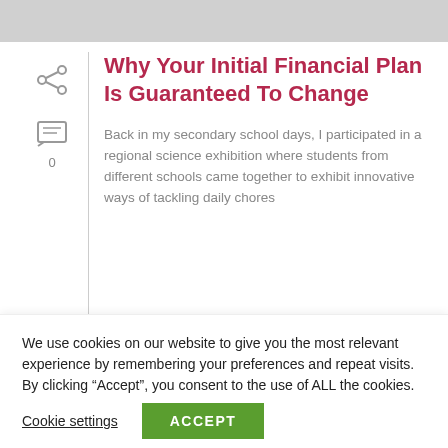Why Your Initial Financial Plan Is Guaranteed To Change
Back in my secondary school days, I participated in a regional science exhibition where students from different schools came together to exhibit innovative ways of tackling daily chores
We use cookies on our website to give you the most relevant experience by remembering your preferences and repeat visits. By clicking “Accept”, you consent to the use of ALL the cookies.
Cookie settings | ACCEPT